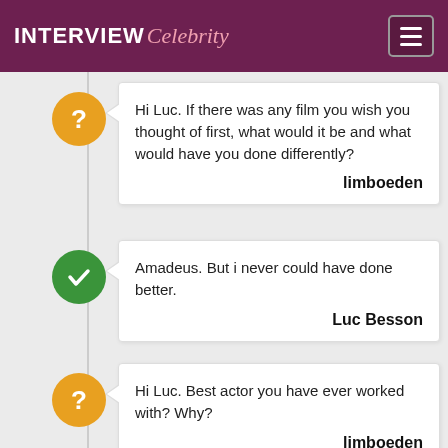INTERVIEW Celebrity
Hi Luc. If there was any film you wish you thought of first, what would it be and what would have you done differently?
limboeden
Amadeus. But i never could have done better.
Luc Besson
Hi Luc. Best actor you have ever worked with? Why?
limboeden